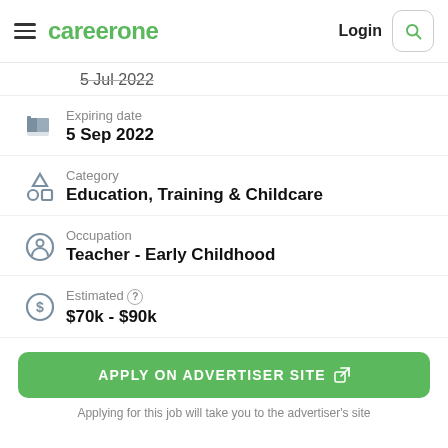careerone — Login
5 Jul 2022
Expiring date
5 Sep 2022
Category
Education, Training & Childcare
Occupation
Teacher - Early Childhood
Estimated ?
$70k - $90k
APPLY ON ADVERTISER SITE
Applying for this job will take you to the advertiser's site